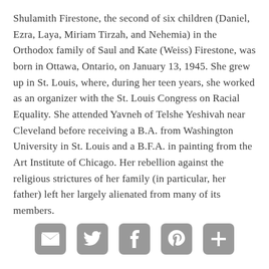Shulamith Firestone, the second of six children (Daniel, Ezra, Laya, Miriam Tirzah, and Nehemia) in the Orthodox family of Saul and Kate (Weiss) Firestone, was born in Ottawa, Ontario, on January 13, 1945. She grew up in St. Louis, where, during her teen years, she worked as an organizer with the St. Louis Congress on Racial Equality. She attended Yavneh of Telshe Yeshivah near Cleveland before receiving a B.A. from Washington University in St. Louis and a B.F.A. in painting from the Art Institute of Chicago. Her rebellion against the religious strictures of her family (in particular, her father) left her largely alienated from many of its members.
[Figure (infographic): Row of five social sharing icon buttons: envelope/email, Twitter bird, Facebook f, Pinterest P, and a plus/add icon. All icons are gray rounded squares with white symbols.]